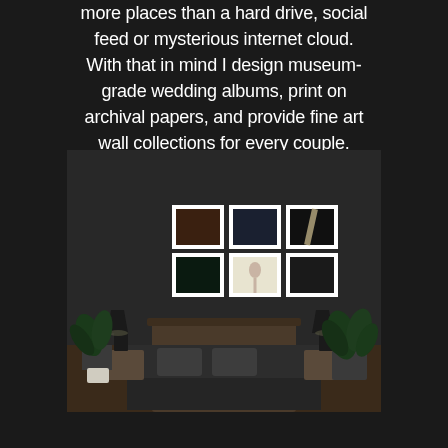more places than a hard drive, social feed or mysterious internet cloud. With that in mind I design museum-grade wedding albums, print on archival papers, and provide fine art wall collections for every couple.
[Figure (photo): A dark bedroom interior with a bed, nightstands with lamps, plants, and a gallery wall above the headboard showing 6 framed photographs arranged in a 2-row by 3-column grid.]